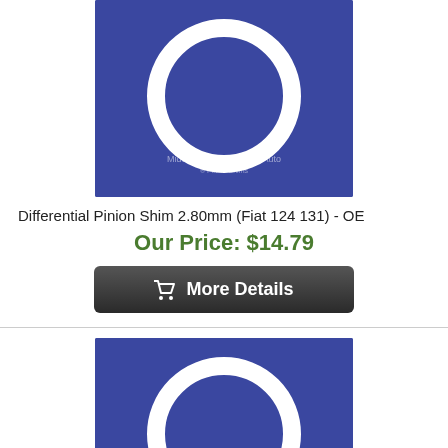[Figure (photo): Photo of a white differential pinion shim ring on a blue background with watermark text 'Midwest Bayless Italian Auto']
Differential Pinion Shim 2.80mm (Fiat 124 131) - OE
Our Price: $14.79
More Details
[Figure (photo): Photo of a white differential pinion shim ring on a blue background with watermark text 'Midwest Bayless Italian Auto']
Differential Pinion Shim 2.85mm (Fiat 124 131) - OE